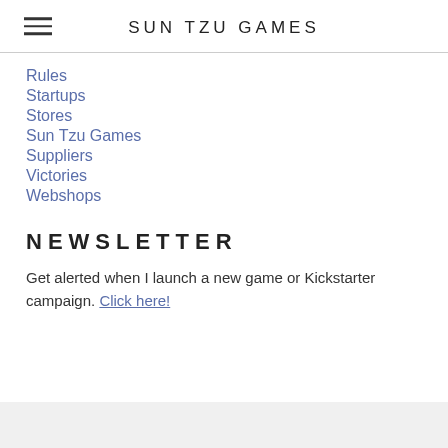SUN TZU GAMES
Rules
Startups
Stores
Sun Tzu Games
Suppliers
Victories
Webshops
NEWSLETTER
Get alerted when I launch a new game or Kickstarter campaign. Click here!